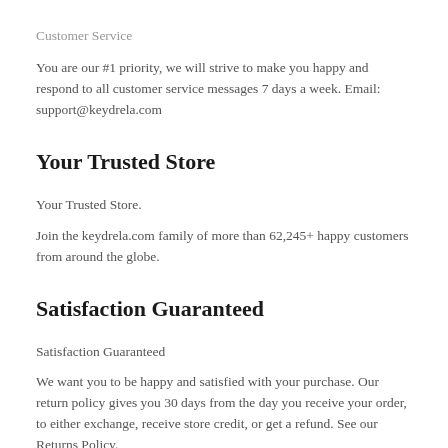Customer Service
You are our #1 priority, we will strive to make you happy and respond to all customer service messages 7 days a week. Email: support@keydrela.com
Your Trusted Store
Your Trusted Store.
Join the keydrela.com family of more than 62,245+ happy customers from around the globe.
Satisfaction Guaranteed
Satisfaction Guaranteed
We want you to be happy and satisfied with your purchase. Our return policy gives you 30 days from the day you receive your order, to either exchange, receive store credit, or get a refund. See our Returns Policy.